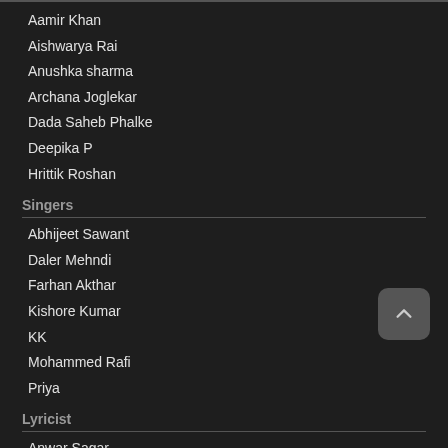Aamir Khan
Aishwarya Rai
Anushka sharma
Archana Joglekar
Dada Saheb Phalke
Deepika P
Hrittik Roshan
Singers
Abhijeet Sawant
Daler Mehndi
Farhan Akthar
Kishore Kumar
KK
Mohammed Rafi
Priya
Lyricist
Anwar Sagar
Gulzar
Himesh Reshmiya
Javed Akthar